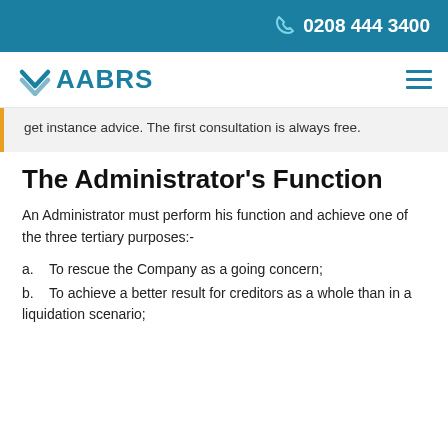0208 444 3400
[Figure (logo): AABRS company logo with teal chevron/arrow and teal text]
get instance advice. The first consultation is always free.
The Administrator's Function
An Administrator must perform his function and achieve one of the three tertiary purposes:-
a.    To rescue the Company as a going concern;
b.    To achieve a better result for creditors as a whole than in a liquidation scenario;